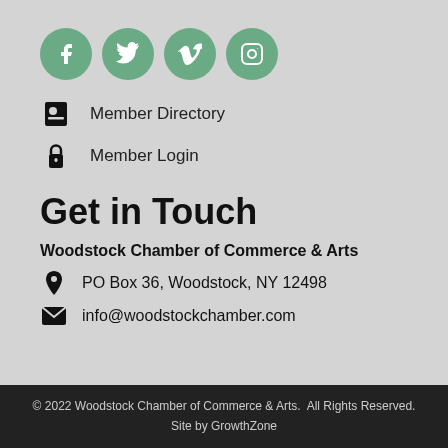[Figure (other): Row of four green circular social media icons: Facebook, Twitter, Vimeo, Instagram]
Member Directory
Member Login
Get in Touch
Woodstock Chamber of Commerce & Arts
PO Box 36, Woodstock, NY 12498
info@woodstockchamber.com
© 2022 Woodstock Chamber of Commerce & Arts.  All Rights Reserved.
Site by GrowthZone